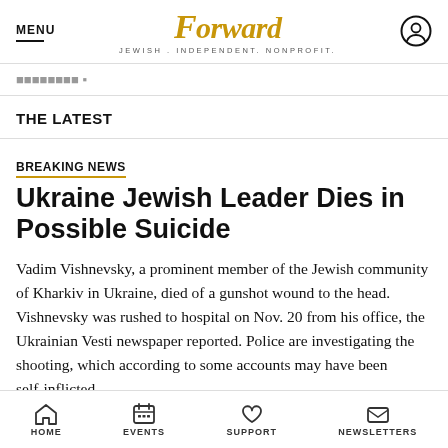MENU | Forward — JEWISH. INDEPENDENT. NONPROFIT.
THE LATEST
BREAKING NEWS
Ukraine Jewish Leader Dies in Possible Suicide
Vadim Vishnevsky, a prominent member of the Jewish community of Kharkiv in Ukraine, died of a gunshot wound to the head. Vishnevsky was rushed to hospital on Nov. 20 from his office, the Ukrainian Vesti newspaper reported. Police are investigating the shooting, which according to some accounts may have been self-inflicted,
HOME | EVENTS | SUPPORT | NEWSLETTERS